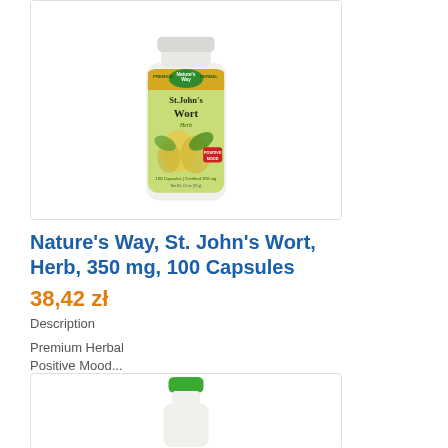[Figure (photo): Nature's Way St. John's Wort supplement bottle, white bottle with green and gold label, 350mg 100 Capsules]
Nature's Way, St. John's Wort, Herb, 350 mg, 100 Capsules
38,42 zł
Description
Premium Herbal
Positive Mood...
[Figure (photo): Second supplement bottle partially visible, green cap on white bottle]